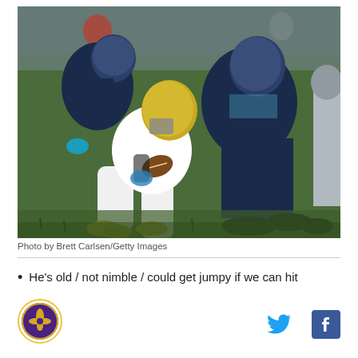[Figure (photo): NFL football game action photo showing a New Orleans Saints quarterback in white uniform being tackled/sacked by Tennessee Titans defenders in dark blue uniforms on a grass field.]
Photo by Brett Carlsen/Getty Images
He's old / not nimble / could get jumpy if we can hit
[Figure (logo): Circular sports team logo with gold border, purple and gold colors]
[Figure (other): Twitter bird icon in light blue]
[Figure (other): Facebook f icon in dark blue]